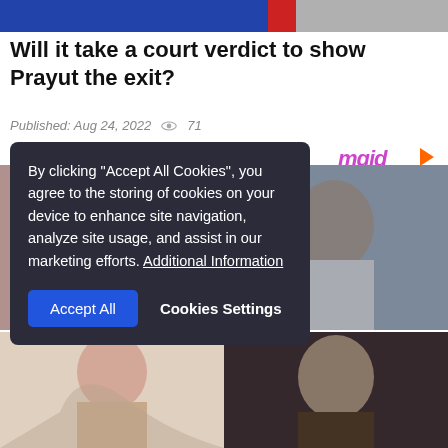[Figure (photo): Top banner image with blue, red and gray sections]
Will it take a court verdict to show Prayut the exit?
Published: Aug 24, 2022  71
PROMOTED CONTENT
[Figure (logo): mgid logo with arrow icon]
[Figure (photo): Promoted content images grid - woman crying and man thinking]
[Figure (other): Cookie consent overlay: By clicking Accept All Cookies, you agree to the storing of cookies on your device to enhance site navigation, analyze site usage, and assist in our marketing efforts. Additional Information. Buttons: Accept All, Cookies Settings]
[Figure (photo): Bottom grid - woman with long hair and man in suit]